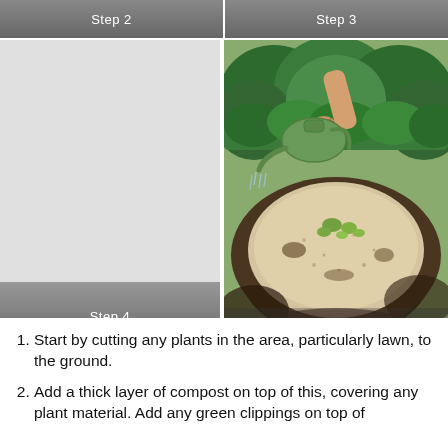[Figure (photo): Step 2 banner header — gray gradient banner with white text 'Step 2']
[Figure (photo): Step 3 banner header — gray gradient banner with white text 'Step 3']
[Figure (photo): Step 4 — left panel, light gray background representing a step, with gradient overlay at bottom labeled 'Step 4']
[Figure (photo): Step 5 — photo of a garden bed with sandy/light-colored soil, small green seedlings, surrounded by dark mulch and green shrubs. A person's hand holds a watering can over the bed. Gradient overlay at bottom labeled 'Step 5']
Start by cutting any plants in the area, particularly lawn, to the ground.
Add a thick layer of compost on top of this, covering any plant material. Add any green clippings on top of